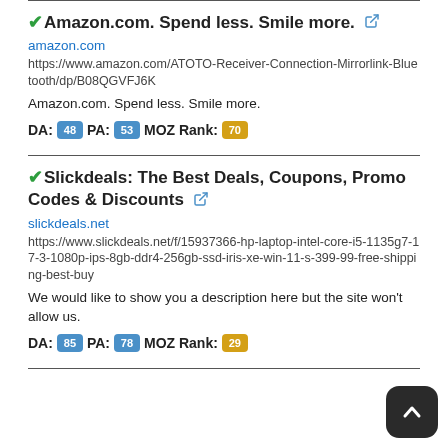✔Amazon.com. Spend less. Smile more. 🔗
amazon.com
https://www.amazon.com/ATOTO-Receiver-Connection-Mirrorlink-Bluetooth/dp/B08QGVFJ6K
Amazon.com. Spend less. Smile more.
DA: 48  PA: 53  MOZ Rank: 70
✔Slickdeals: The Best Deals, Coupons, Promo Codes & Discounts 🔗
slickdeals.net
https://www.slickdeals.net/f/15937366-hp-laptop-intel-core-i5-1135g7-17-3-1080p-ips-8gb-ddr4-256gb-ssd-iris-xe-win-11-s-399-99-free-shipping-best-buy
We would like to show you a description here but the site won't allow us.
DA: 85  PA: 78  MOZ Rank: 29